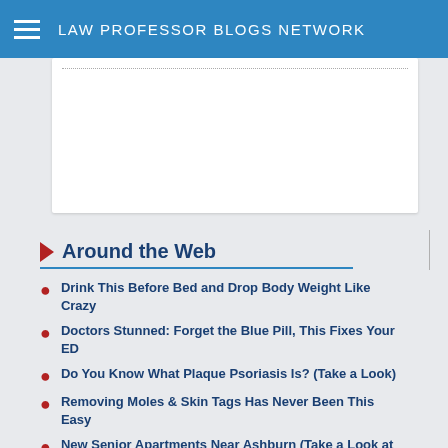LAW PROFESSOR BLOGS NETWORK
Around the Web
Drink This Before Bed and Drop Body Weight Like Crazy
Doctors Stunned: Forget the Blue Pill, This Fixes Your ED
Do You Know What Plaque Psoriasis Is? (Take a Look)
Removing Moles & Skin Tags Has Never Been This Easy
New Senior Apartments Near Ashburn (Take a Look at the Prices)
Clear Signs of Tardive Dyskinesia Most People May Not Realize